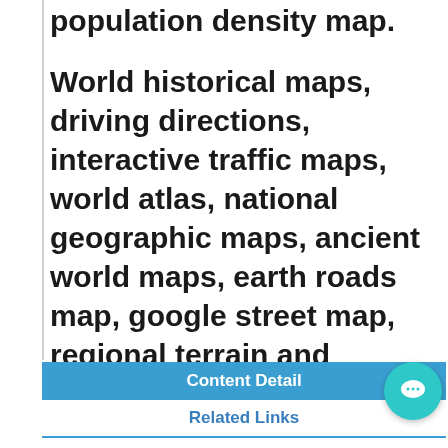population density map.
World historical maps, driving directions, interactive traffic maps, world atlas, national geographic maps, ancient world maps, earth roads map, google street map, regional terrain and statistics maps.
Content Detail
Related Links